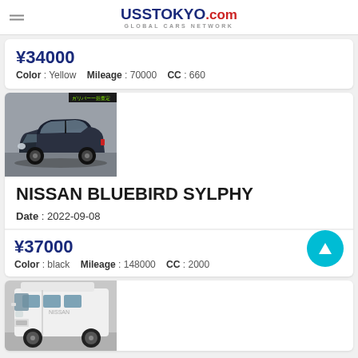UssTokyo.com GLOBAL CARS NETWORK
¥34000 Color: Yellow Mileage: 70000 CC: 660
[Figure (photo): Dark blue/black Nissan Bluebird Sylphy sedan photographed at auction]
NISSAN BLUEBIRD SYLPHY
Date: 2022-09-08
¥37000 Color: black Mileage: 148000 CC: 2000
[Figure (photo): White Nissan high-roof van photographed at auction]